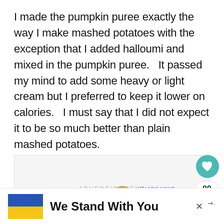I made the pumpkin puree exactly the way I make mashed potatoes with the exception that I added halloumi and mixed in the pumpkin puree.   It passed my mind to add some heavy or light cream but I preferred to keep it lower on calories.   I must say that I did not expect it to be so much better than plain mashed potatoes.
ADVERTISEMENT
89
WHAT'S NEXT → Pumpkin Cheesecake...
We Stand With You